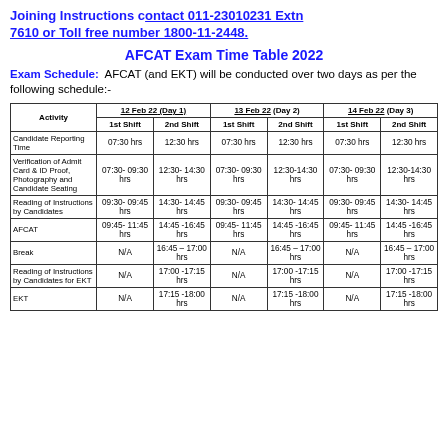Joining Instructions contact 011-23010231 Extn 7610 or Toll free number 1800-11-2448.
AFCAT Exam Time Table 2022
Exam Schedule: AFCAT (and EKT) will be conducted over two days as per the following schedule:-
| Activity | 12 Feb 22 (Day 1) 1st Shift | 12 Feb 22 (Day 1) 2nd Shift | 13 Feb 22 (Day 2) 1st Shift | 13 Feb 22 (Day 2) 2nd Shift | 14 Feb 22 (Day 3) 1st Shift | 14 Feb 22 (Day 3) 2nd Shift |
| --- | --- | --- | --- | --- | --- | --- |
| Candidate Reporting Time | 07:30 hrs | 12:30 hrs | 07:30 hrs | 12:30 hrs | 07:30 hrs | 12:30 hrs |
| Verification of Admit Card & ID Proof, Photography and Candidate Seating | 07:30- 09:30 hrs | 12:30- 14:30 hrs | 07:30- 09:30 hrs | 12:30-14:30 hrs | 07:30- 09:30 hrs | 12:30-14:30 hrs |
| Reading of Instructions by Candidates | 09:30- 09:45 hrs | 14:30- 14:45 hrs | 09:30- 09:45 hrs | 14:30- 14:45 hrs | 09:30- 09:45 hrs | 14:30- 14:45 hrs |
| AFCAT | 09:45- 11:45 hrs | 14:45 -16:45 hrs | 09:45- 11:45 hrs | 14:45 -16:45 hrs | 09:45- 11:45 hrs | 14:45 -16:45 hrs |
| Break | N/A | 16:45 – 17:00 hrs | N/A | 16:45 – 17:00 hrs | N/A | 16:45 – 17:00 hrs |
| Reading of Instructions by Candidates for EKT | N/A | 17:00 -17:15 hrs | N/A | 17:00 -17:15 hrs | N/A | 17:00 -17:15 hrs |
| EKT | N/A | 17:15 -18:00 hrs | N/A | 17:15 -18:00 hrs | N/A | 17:15 -18:00 hrs |